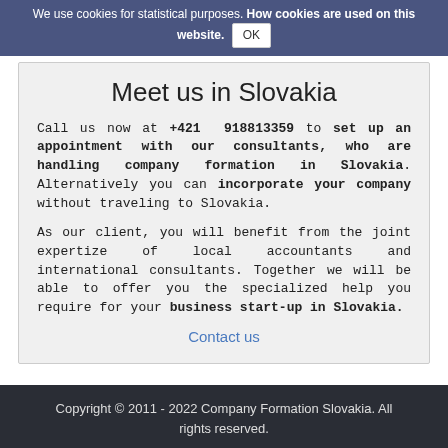We use cookies for statistical purposes. How cookies are used on this website. OK
Meet us in Slovakia
Call us now at +421 918813359 to set up an appointment with our consultants, who are handling company formation in Slovakia. Alternatively you can incorporate your company without traveling to Slovakia.
As our client, you will benefit from the joint expertize of local accountants and international consultants. Together we will be able to offer you the specialized help you require for your business start-up in Slovakia.
Contact us
Copyright © 2011 - 2022 Company Formation Slovakia. All rights reserved.